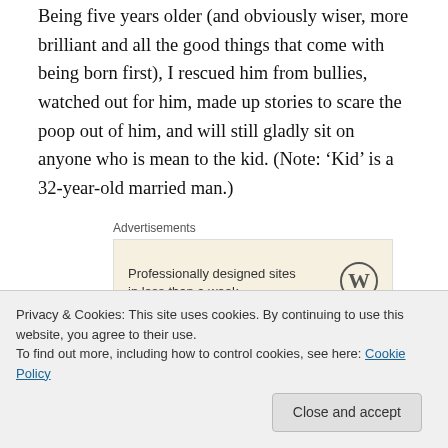Being five years older (and obviously wiser, more brilliant and all the good things that come with being born first), I rescued him from bullies, watched out for him, made up stories to scare the poop out of him, and will still gladly sit on anyone who is mean to the kid. (Note: 'Kid' is a 32-year-old married man.)
[Figure (other): Advertisement box with text 'Professionally designed sites in less than a week' and WordPress logo, on a beige background. Labeled 'Advertisements' above.]
In my firmly feminist household, our mum didn't wear the
Privacy & Cookies: This site uses cookies. By continuing to use this website, you agree to their use.
To find out more, including how to control cookies, see here: Cookie Policy